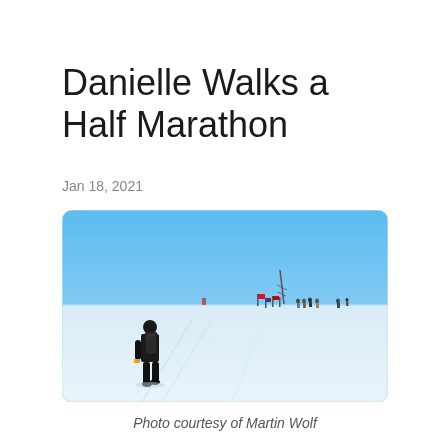Danielle Walks a Half Marathon
Jan 18, 2021
[Figure (photo): Person in black winter gear with backpack walking across a vast snowy/icy landscape toward a distant group of people and flags, with a communications tower and clear blue sky in the background.]
Photo courtesy of Martin Wolf